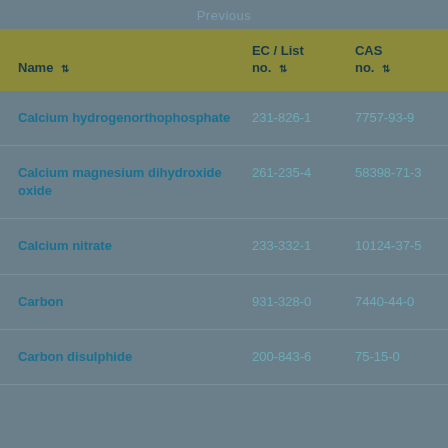Previous
| Name | EC / List no. | CAS no. |
| --- | --- | --- |
| Calcium hydrogenorthophosphate | 231-826-1 | 7757-93-9 |
| Calcium magnesium dihydroxide oxide | 261-235-4 | 58398-71-3 |
| Calcium nitrate | 233-332-1 | 10124-37-5 |
| Carbon | 931-328-0 | 7440-44-0 |
| Carbon disulphide | 200-843-6 | 75-15-0 |